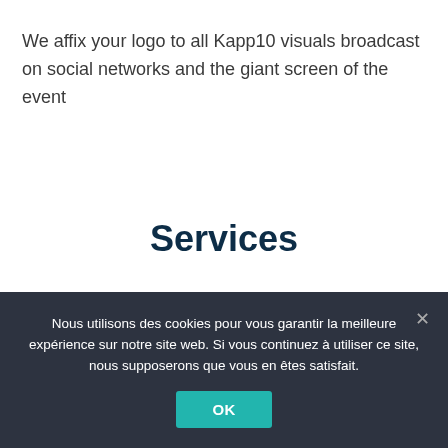We affix your logo to all Kapp10 visuals broadcast on social networks and the giant screen of the event
Services
Nous utilisons des cookies pour vous garantir la meilleure expérience sur notre site web. Si vous continuez à utiliser ce site, nous supposerons que vous en êtes satisfait.